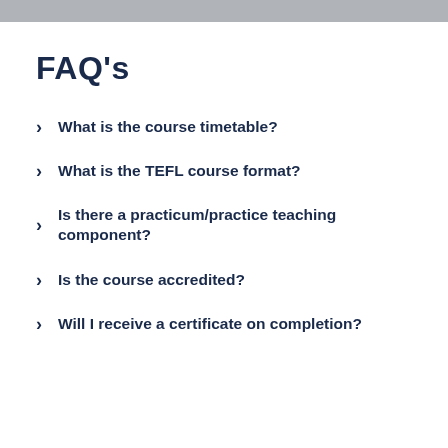FAQ's
What is the course timetable?
What is the TEFL course format?
Is there a practicum/practice teaching component?
Is the course accredited?
Will I receive a certificate on completion?